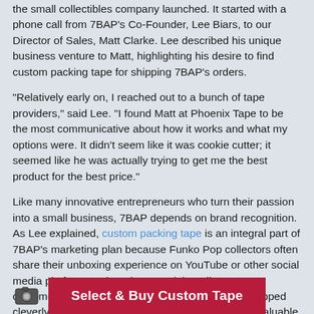the small collectibles company launched. It started with a phone call from 7BAP's Co-Founder, Lee Biars, to our Director of Sales, Matt Clarke. Lee described his unique business venture to Matt, highlighting his desire to find custom packing tape for shipping 7BAP's orders.
“Relatively early on, I reached out to a bunch of tape providers,” said Lee. “I found Matt at Phoenix Tape to be the most communicative about how it works and what my options were. It didn’t seem like it was cookie cutter; it seemed like he was actually trying to get me the best product for the best price.”
Like many innovative entrepreneurs who turn their passion into a small business, 7BAP depends on brand recognition. As Lee explained, custom packing tape is an integral part of 7BAP’s marketing plan because Funko Pop collectors often share their unboxing experience on YouTube or other social media platforms. When these social media-savvy customers receive their Pop in an attractive box wrapped cleverly in 7BAP branded packing tape, it provides valuable online missio d
Select & Buy Custom Tape